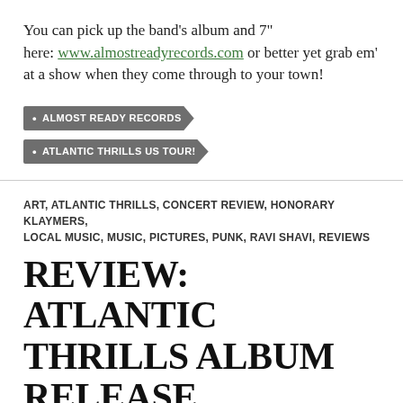You can pick up the band's album and 7" here: www.almostreadyrecords.com or better yet grab em' at a show when they come through to your town!
ALMOST READY RECORDS
ATLANTIC THRILLS US TOUR!
ART, ATLANTIC THRILLS, CONCERT REVIEW, HONORARY KLAYMERS, LOCAL MUSIC, MUSIC, PICTURES, PUNK, RAVI SHAVI, REVIEWS
REVIEW: ATLANTIC THRILLS ALBUM RELEASE SHOW W/ RAVI SHAVI, GYMSHORTS, LITTLEFOOT @ DUSK (2/1/14)